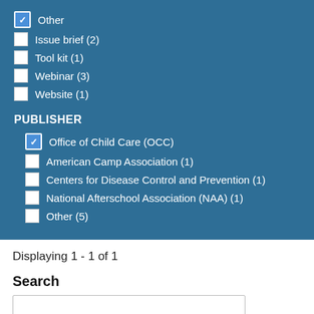✓ Other (checked)
Issue brief (2)
Tool kit (1)
Webinar (3)
Website (1)
PUBLISHER
✓ Office of Child Care (OCC) (checked)
American Camp Association (1)
Centers for Disease Control and Prevention (1)
National Afterschool Association (NAA) (1)
Other (5)
Displaying 1 - 1 of 1
Search
Sort by
Items per page